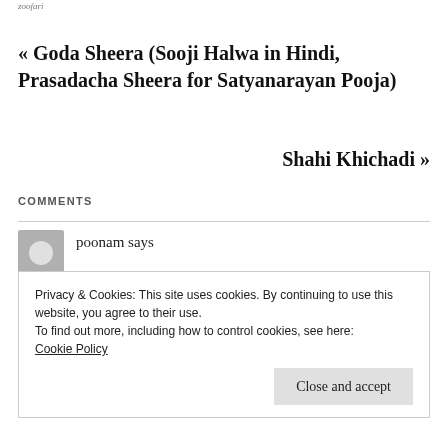zoofari
« Goda Sheera (Sooji Halwa in Hindi, Prasadacha Sheera for Satyanarayan Pooja)
Shahi Khichadi »
COMMENTS
poonam says
Privacy & Cookies: This site uses cookies. By continuing to use this website, you agree to their use.
To find out more, including how to control cookies, see here: Cookie Policy
Close and accept